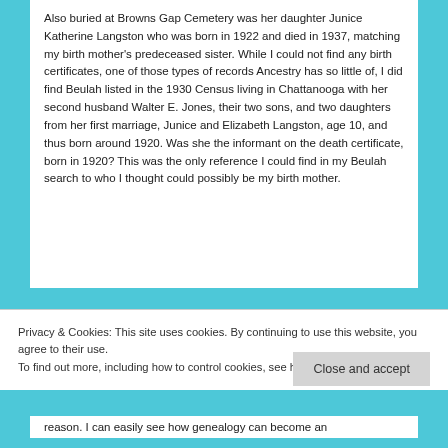Also buried at Browns Gap Cemetery was her daughter Junice Katherine Langston who was born in 1922 and died in 1937, matching my birth mother's predeceased sister. While I could not find any birth certificates, one of those types of records Ancestry has so little of, I did find Beulah listed in the 1930 Census living in Chattanooga with her second husband Walter E. Jones, their two sons, and two daughters from her first marriage, Junice and Elizabeth Langston, age 10, and thus born around 1920. Was she the informant on the death certificate, born in 1920? This was the only reference I could find in my Beulah search to who I thought could possibly be my birth mother.
Privacy & Cookies: This site uses cookies. By continuing to use this website, you agree to their use.
To find out more, including how to control cookies, see here: Cookie Policy
Close and accept
reason. I can easily see how genealogy can become an